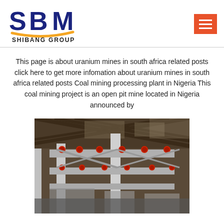[Figure (logo): SBM Shibang Group logo with blue bold letters SBM and yellow swoosh underline, text SHIBANG GROUP below]
This page is about uranium mines in south africa related posts click here to get more infomation about uranium mines in south africa related posts Coal mining processing plant in Nigeria This coal mining project is an open pit mine located in Nigeria announced by
[Figure (photo): Interior of a coal mining processing plant showing metal conveyor belt framework structure with red cylindrical rollers mounted on steel supports under a dark roof]